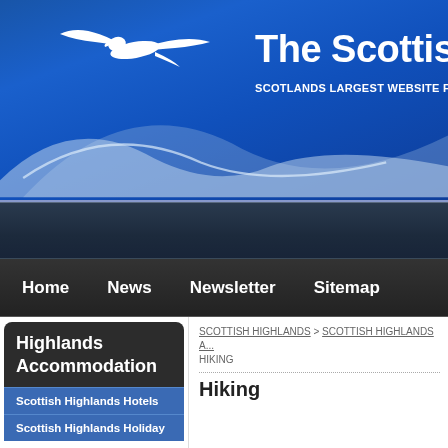[Figure (logo): The Scottish Highlands website logo with white bird (eagle/osprey) flying over stylized mountain silhouettes on a blue gradient background. Text reads 'The Scottish H' and 'SCOTLANDS LARGEST WEBSITE FOR T']
Home  News  Newsletter  Sitemap
Highlands Accommodation
Scottish Highlands Hotels
Scottish Highlands Holiday
SCOTTISH HIGHLANDS > SCOTTISH HIGHLANDS A... HIKING
Hiking